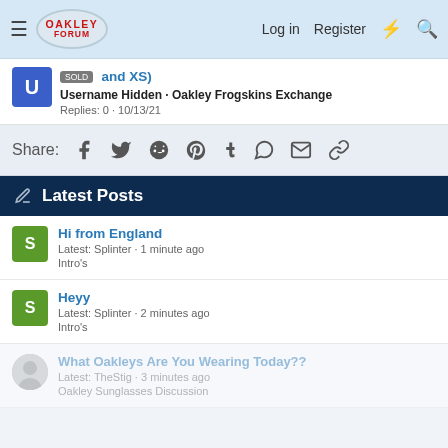Oakley Forum — Log in  Register
and XS)
Username Hidden · Oakley Frogskins Exchange
Replies: 0 · 10/13/21
Share:
Latest Posts
Hi from England
Latest: Splinter · 1 minute ago
Intro's
Heyy
Latest: Splinter · 2 minutes ago
Intro's
What Oakleys Are You Wearing Today??
Latest: TheStig · 3 minutes ago